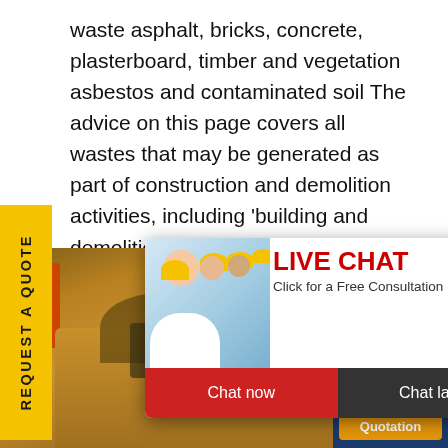waste asphalt, bricks, concrete, plasterboard, timber and vegetation asbestos and contaminated soil The advice on this page covers all wastes that may be generated as part of construction and demolition activities, including 'building and demolition waste' as defined in the Protection of the Environment Operations Act 1997 .
[Figure (screenshot): Yellow sidebar with rotated text reading 'REQUEST A QUOTE']
[Figure (screenshot): Live chat popup overlay showing construction workers with hard hats, LIVE CHAT heading in red, 'Click for a Free Consultation' subtext, Chat now (red) and Chat later (dark) buttons]
[Figure (screenshot): Right side widget showing a woman with headset smiling, below a dark blue box saying 'Have any requests, click here.' with an orange Quotation button and close X button]
[Figure (photo): Bottom portion showing industrial construction machinery and equipment in orange/gold tones]